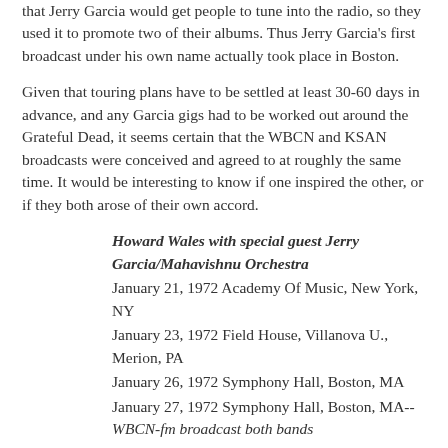that Jerry Garcia would get people to tune into the radio, so they used it to promote two of their albums. Thus Jerry Garcia's first broadcast under his own name actually took place in Boston.
Given that touring plans have to be settled at least 30-60 days in advance, and any Garcia gigs had to be worked out around the Grateful Dead, it seems certain that the WBCN and KSAN broadcasts were conceived and agreed to at roughly the same time. It would be interesting to know if one inspired the other, or if they both arose of their own accord.
Howard Wales with special guest Jerry Garcia/Mahavishnu Orchestra
January 21, 1972 Academy Of Music, New York, NY
January 23, 1972 Field House, Villanova U., Merion, PA
January 26, 1972 Symphony Hall, Boston, MA
January 27, 1972 Symphony Hall, Boston, MA-- WBCN-fm broadcast both bands
January 28, 1972 Palace Theater, Providence, RI